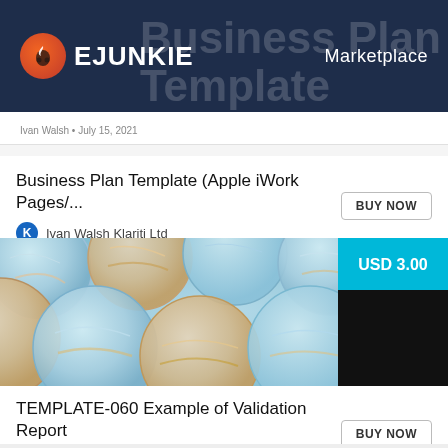EJUNKIE   Marketplace
Business Plan Template • July 15, 2021
Business Plan Template (Apple iWork Pages/...
Ivan Walsh Klariti Ltd
[Figure (photo): Close-up photo of petri dishes with bacterial cultures, blue and orange tones]
USD 3.00
TEMPLATE-060 Example of Validation Report
GMP SOP